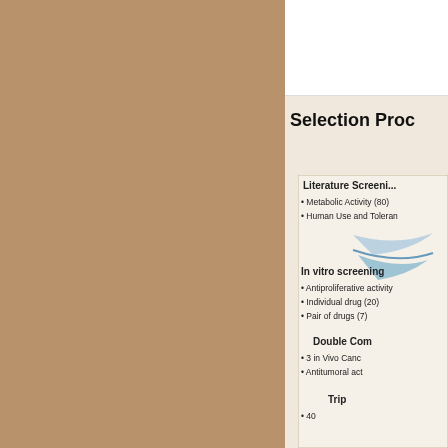Selection Proc
[Figure (flowchart): Flowchart showing drug selection process with stages: Literature Screening, In vitro screening, Double Combination, Triple combination]
Literature Screening
Metabolic Activity (80)
Human Use and Toleran
In vitro screening
Antiproliferative activity
Individual drug (20)
Pair of drugs (7)
Double Com
3 in Vivo Canc
Antitumoral act
Trip
40